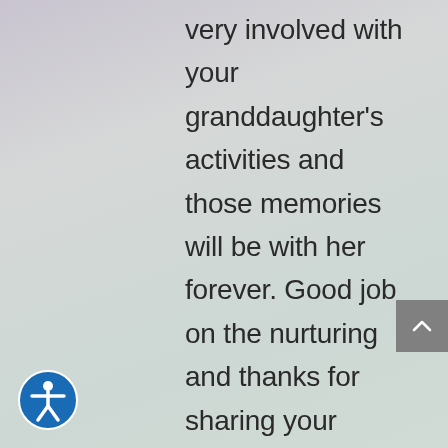very involved with your granddaughter's activities and those memories will be with her forever. Good job on the nurturing and thanks for sharing your reason for
[Figure (illustration): Gray scroll-to-top button with upward chevron arrow, positioned at right edge]
[Figure (logo): Blue circular accessibility icon showing a person with arms outstretched, bottom left corner]